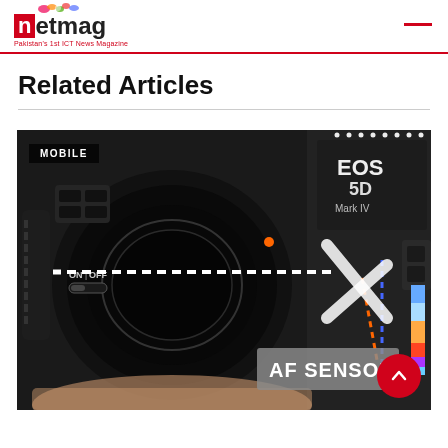netmag — Pakistan's 1st ICT News Magazine
Related Articles
[Figure (photo): Close-up photo of a Canon EOS 5D Mark IV camera showing an AF sensor diagram with dotted light lines, a diagonal arrow, and a color bar on the right side. Text overlays show 'MOBILE', 'EOS 5D Mark IV', 'ON/OFF', and 'AF SENSOR'.]